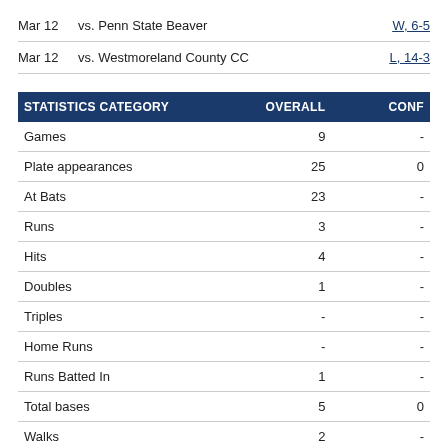Mar 12   vs. Penn State Beaver   W, 6-5
Mar 12   vs. Westmoreland County CC   L, 14-3
| STATISTICS CATEGORY | OVERALL | CONF |
| --- | --- | --- |
| Games | 9 | - |
| Plate appearances | 25 | 0 |
| At Bats | 23 | - |
| Runs | 3 | - |
| Hits | 4 | - |
| Doubles | 1 | - |
| Triples | - | - |
| Home Runs | - | - |
| Runs Batted In | 1 | - |
| Total bases | 5 | 0 |
| Walks | 2 | - |
| Hit by pitch | - | - |
| Strikeouts | 7 | - |
| Sacrifice Flies | - | - |